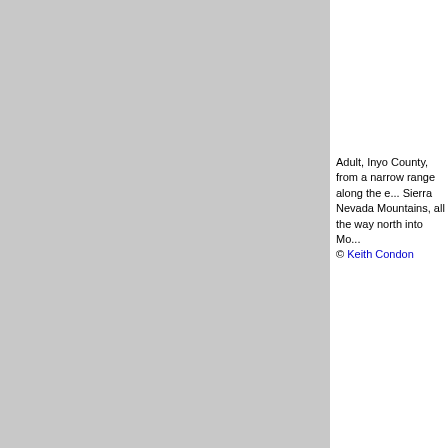[Figure (photo): Photograph of an adult bird from Inyo County, large grey rectangular image placeholder]
Adult, Inyo County, from a narrow range along the e... Sierra Nevada Mountains, all the way north into Mo... © Keith Condon